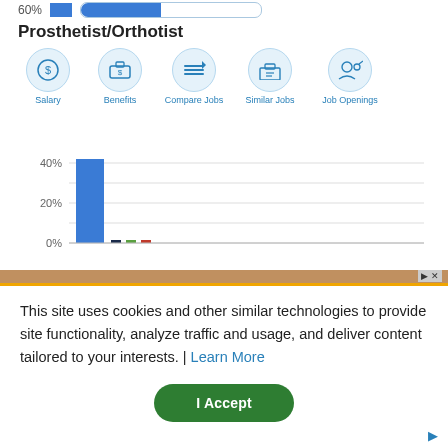60%
Prosthetist/Orthotist
[Figure (other): Navigation icons: Salary, Benefits, Compare Jobs, Similar Jobs, Job Openings — circular light-blue icon buttons with labels]
[Figure (bar-chart): Bar chart showing salary distribution with y-axis labels 0%, 20%, 40%. One tall blue bar near 44%, three very small colored bars (dark navy, green, red) near 0%.]
This site uses cookies and other similar technologies to provide site functionality, analyze traffic and usage, and deliver content tailored to your interests. | Learn More
I Accept